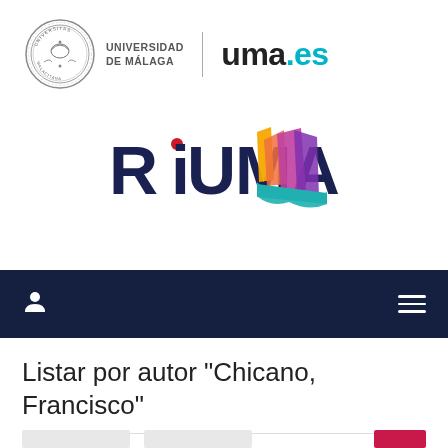[Figure (logo): Universidad de Málaga seal and text logo with uma.es branding]
[Figure (logo): RiUMA repository logo with colorful book/flag graphic]
[Figure (other): Dark navy navigation bar with user icon and hamburger menu]
Listar por autor "Chicano, Francisco"